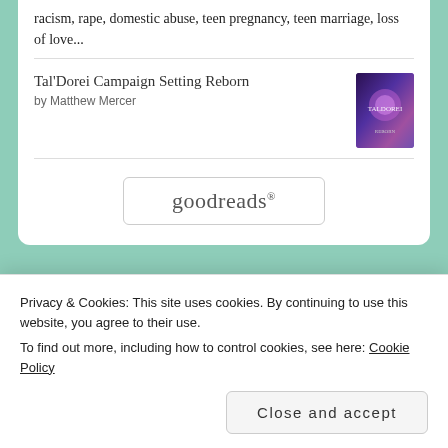racism, rape, domestic abuse, teen pregnancy, teen marriage, loss of love...
Tal'Dorei Campaign Setting Reborn
by Matthew Mercer
[Figure (other): Book cover for Tal'Dorei Campaign Setting Reborn, purple/fantasy themed]
[Figure (logo): goodreads logo button with rounded rectangle border]
GOODREADS – CURRENTLY READING
Privacy & Cookies: This site uses cookies. By continuing to use this website, you agree to their use.
To find out more, including how to control cookies, see here: Cookie Policy
Close and accept